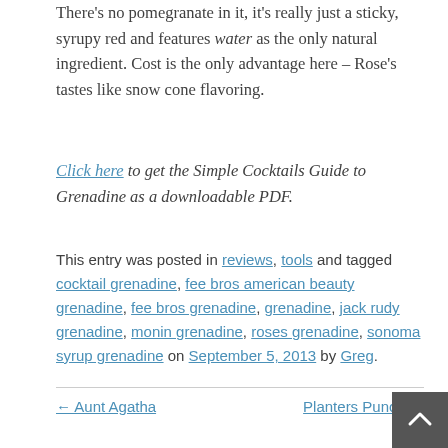There's no pomegranate in it, it's really just a sticky, syrupy red and features water as the only natural ingredient. Cost is the only advantage here – Rose's tastes like snow cone flavoring.
Click here to get the Simple Cocktails Guide to Grenadine as a downloadable PDF.
This entry was posted in reviews, tools and tagged cocktail grenadine, fee bros american beauty grenadine, fee bros grenadine, grenadine, jack rudy grenadine, monin grenadine, roses grenadine, sonoma syrup grenadine on September 5, 2013 by Greg.
← Aunt Agatha    Planters Punch →